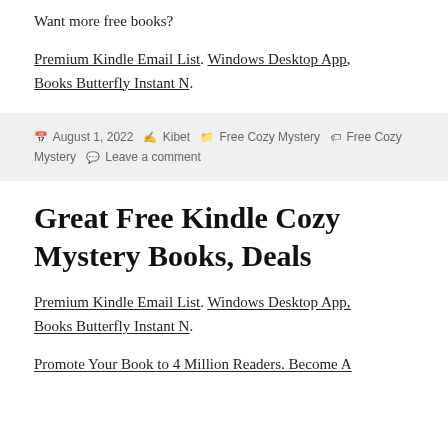Want more free books?
Premium Kindle Email List. Windows Desktop App, Books Butterfly Instant N.
August 1, 2022  Kibet  Free Cozy Mystery  Free Cozy Mystery  Leave a comment
Great Free Kindle Cozy Mystery Books, Deals
Premium Kindle Email List. Windows Desktop App, Books Butterfly Instant N.
Promote Your Book to 4 Million Readers. Become A